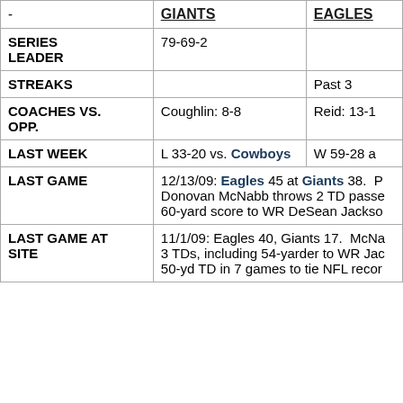| - | GIANTS | EAGLES |
| --- | --- | --- |
| SERIES LEADER | 79-69-2 |  |
| STREAKS |  | Past 3 |
| COACHES VS. OPP. | Coughlin: 8-8 | Reid: 13-1 |
| LAST WEEK | L 33-20 vs. Cowboys | W 59-28 a |
| LAST GAME | 12/13/09: Eagles 45 at Giants 38. P Donovan McNabb throws 2 TD passe 60-yard score to WR DeSean Jackso |  |
| LAST GAME AT SITE | 11/1/09: Eagles 40, Giants 17. McNa 3 TDs, including 54-yarder to WR Jac 50-yd TD in 7 games to tie NFL recor |  |